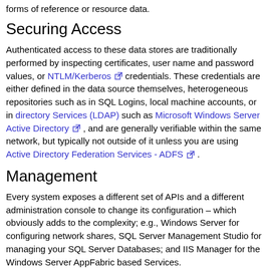forms of reference or resource data.
Securing Access
Authenticated access to these data stores are traditionally performed by inspecting certificates, user name and password values, or NTLM/Kerberos credentials. These credentials are either defined in the data source themselves, heterogeneous repositories such as in SQL Logins, local machine accounts, or in directory Services (LDAP) such as Microsoft Windows Server Active Directory , and are generally verifiable within the same network, but typically not outside of it unless you are using Active Directory Federation Services - ADFS .
Management
Every system exposes a different set of APIs and a different administration console to change its configuration – which obviously adds to the complexity; e.g., Windows Server for configuring network shares, SQL Server Management Studio for managing your SQL Server Databases; and IIS Manager for the Windows Server AppFabric based Services.